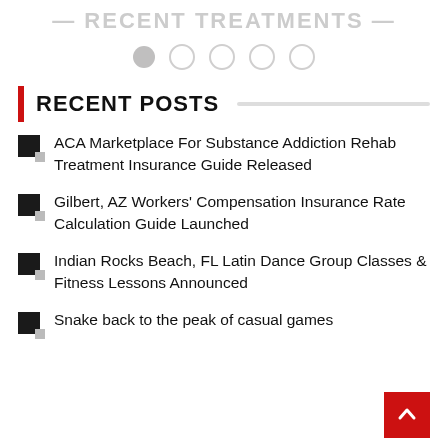RECENT TREATMENTS
[Figure (other): Pagination dots row: one filled gray circle followed by four outlined circles]
RECENT POSTS
ACA Marketplace For Substance Addiction Rehab Treatment Insurance Guide Released
Gilbert, AZ Workers' Compensation Insurance Rate Calculation Guide Launched
Indian Rocks Beach, FL Latin Dance Group Classes & Fitness Lessons Announced
Snake back to the peak of casual games